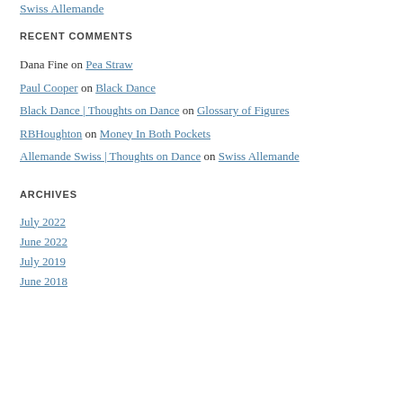Swiss Allemande
RECENT COMMENTS
Dana Fine on Pea Straw
Paul Cooper on Black Dance
Black Dance | Thoughts on Dance on Glossary of Figures
RBHoughton on Money In Both Pockets
Allemande Swiss | Thoughts on Dance on Swiss Allemande
ARCHIVES
July 2022
June 2022
July 2019
June 2018